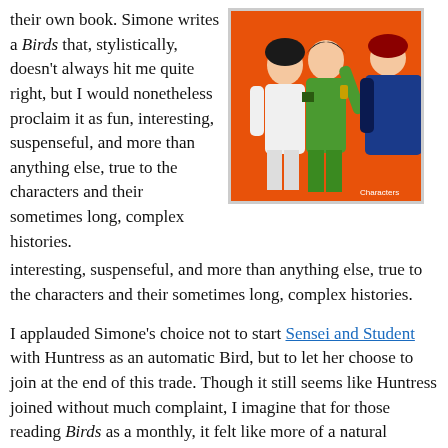their own book. Simone writes a Birds that, stylistically, doesn't always hit me quite right, but I would nonetheless proclaim it as fun, interesting, suspenseful, and more than anything else, true to the characters and their sometimes long, complex histories.
[Figure (illustration): Comic book cover art showing three female superhero characters in front of an orange/red background. One character in white outfit, one in green costume, one in blue/dark costume.]
I applauded Simone's choice not to start Sensei and Student with Huntress as an automatic Bird, but to let her choose to join at the end of this trade. Though it still seems like Huntress joined without much complaint, I imagine that for those reading Birds as a monthly, it felt like more of a natural progression. And while the middle of Sensei and Student lost me somewhat, it certainly redeemed itself with the last chapter. Simone points out, rightly so, that Oracle and Black Canary are (with no diminution intended) the female Batman and Green Arrow (or, at least, Nightwing and Arsenal). In essence, through Huntress's relationships with Nightwing and Arsenal in other books, the powers-that-be have placed Huntress right in-between the two -- she has Nightwing's